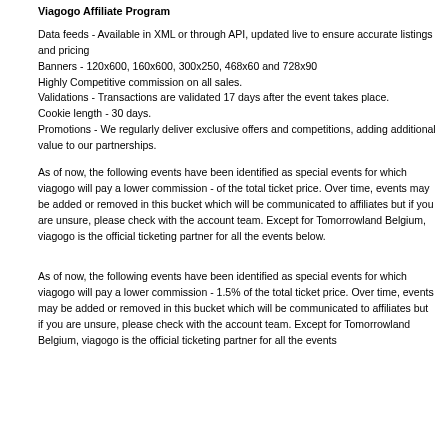Viagogo Affiliate Program
Data feeds - Available in XML or through API, updated live to ensure accurate listings and pricing
Banners - 120x600, 160x600, 300x250, 468x60 and 728x90
Highly Competitive commission on all sales.
Validations - Transactions are validated 17 days after the event takes place.
Cookie length - 30 days.
Promotions - We regularly deliver exclusive offers and competitions, adding additional value to our partnerships.
As of now, the following events have been identified as special events for which viagogo will pay a lower commission - of the total ticket price. Over time, events may be added or removed in this bucket which will be communicated to affiliates but if you are unsure, please check with the account team. Except for Tomorrowland Belgium, viagogo is the official ticketing partner for all the events below.
As of now, the following events have been identified as special events for which viagogo will pay a lower commission - 1.5% of the total ticket price. Over time, events may be added or removed in this bucket which will be communicated to affiliates but if you are unsure, please check with the account team. Except for Tomorrowland Belgium, viagogo is the official ticketing partner for all the events